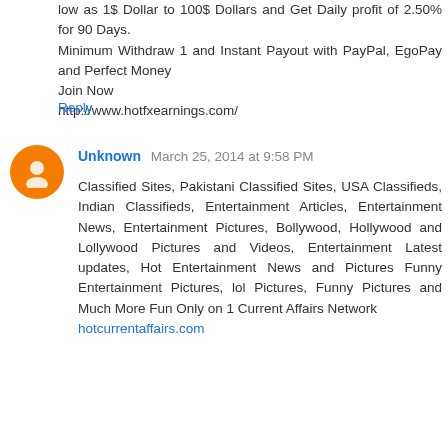low as 1$ Dollar to 100$ Dollars and Get Daily profit of 2.50% for 90 Days.
Minimum Withdraw 1 and Instant Payout with PayPal, EgoPay and Perfect Money
Join Now
http://www.hotfxearnings.com/
Reply
Unknown  March 25, 2014 at 9:58 PM
Classified Sites, Pakistani Classified Sites, USA Classifieds, Indian Classifieds, Entertainment Articles, Entertainment News, Entertainment Pictures, Bollywood, Hollywood and Lollywood Pictures and Videos, Entertainment Latest updates, Hot Entertainment News and Pictures Funny Entertainment Pictures, lol Pictures, Funny Pictures and Much More Fun Only on 1 Current Affairs Network
hotcurrentaffairs.com
Reply